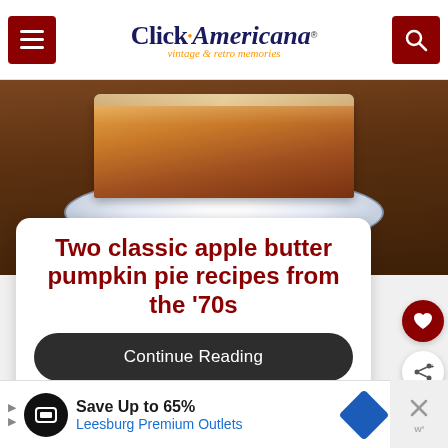Click Americana — vintage & retro memories
[Figure (photo): Photo of a slice of pumpkin pie on a decorative blue and white plate on a wooden surface]
Two classic apple butter pumpkin pie recipes from the '70s
Continue Reading
WHAT'S NEXT → How to make easy m&ms...
Save Up to 65% Leesburg Premium Outlets